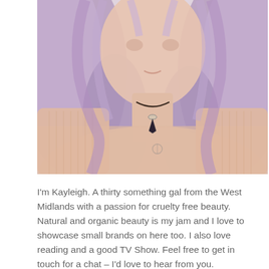[Figure (photo): Close-up photo of a woman with long wavy lavender/purple hair, wearing a light pink ribbed cardigan and a black cord necklace with a dark crystal pendant. She is photographed from the shoulders up against a light background.]
I'm Kayleigh. A thirty something gal from the West Midlands with a passion for cruelty free beauty. Natural and organic beauty is my jam and I love to showcase small brands on here too. I also love reading and a good TV Show. Feel free to get in touch for a chat – I'd love to hear from you.
For any enquiries please email –